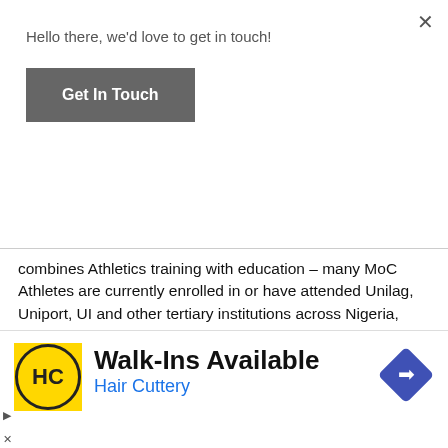Hello there, we'd love to get in touch!
Get In Touch
combines Athletics training with education – many MoC Athletes are currently enrolled in or have attended Unilag, Uniport, UI and other tertiary institutions across Nigeria, while several others have been awarded full US Collegiate Scholarships. MoC holds annual Trials nationwide to recruit the most promising teenage Athletes across Nigeria into its residential programme in Lagos, to complete Secondary or University under MoC's Student-Athlete
[Figure (screenshot): Advertisement banner for Hair Cuttery showing logo, Walk-Ins Available text, and navigation arrow icon]